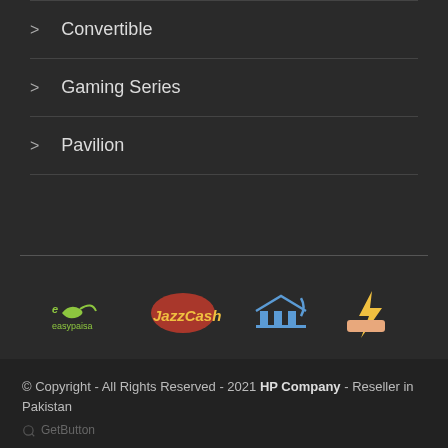> Convertible
> Gaming Series
> Pavilion
[Figure (logo): Payment method logos: easypaisa, JazzCash, bank transfer icon, and a gaming/lightning icon]
[Figure (infographic): Social media buttons: Facebook, Twitter, Instagram]
© Copyright - All Rights Reserved - 2021 HP Company - Reseller in Pakistan